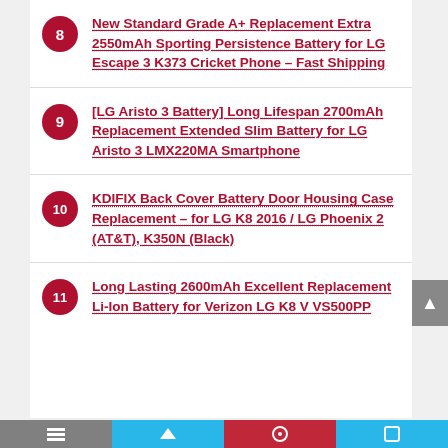New Standard Grade A+ Replacement Extra 2550mAh Sporting Persistence Battery for LG Escape 3 K373 Cricket Phone – Fast Shipping
[LG Aristo 3 Battery] Long Lifespan 2700mAh Replacement Extended Slim Battery for LG Aristo 3 LMX220MA Smartphone
KDIFIX Back Cover Battery Door Housing Case Replacement – for LG K8 2016 / LG Phoenix 2 (AT&T), K350N (Black)
Long Lasting 2600mAh Excellent Replacement Li-Ion Battery for Verizon LG K8 V VS500PP